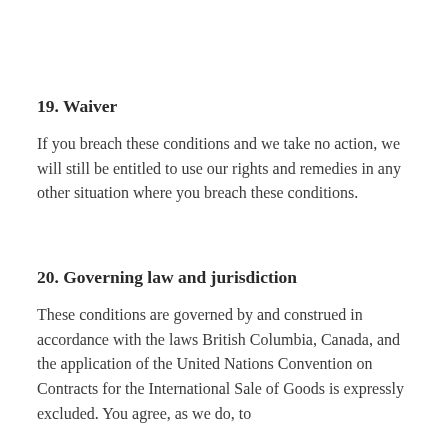19. Waiver
If you breach these conditions and we take no action, we will still be entitled to use our rights and remedies in any other situation where you breach these conditions.
20. Governing law and jurisdiction
These conditions are governed by and construed in accordance with the laws British Columbia, Canada, and the application of the United Nations Convention on Contracts for the International Sale of Goods is expressly excluded. You agree, as we do, to